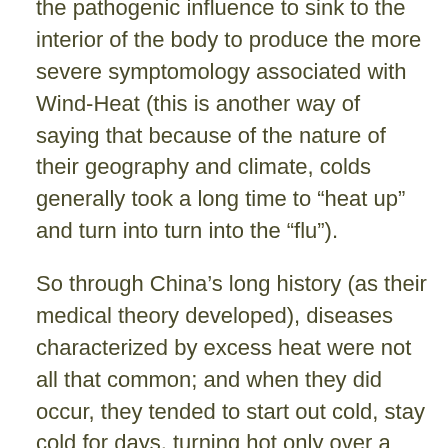the pathogenic influence to sink to the interior of the body to produce the more severe symptomology associated with Wind-Heat (this is another way of saying that because of the nature of their geography and climate, colds generally took a long time to “heat up” and turn into turn into the “flu”).
So through China’s long history (as their medical theory developed), diseases characterized by excess heat were not all that common; and when they did occur, they tended to start out cold, stay cold for days, turning hot only over a long period of time. So there just was not a great emphasis in TCM disease theory (based out of the Shang Han Lun) on “warm” diseases (or the herbs that specifically dealt with them).